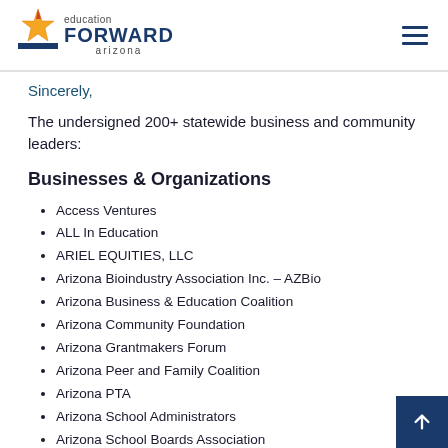education FORWARD arizona
Sincerely,
The undersigned 200+ statewide business and community leaders:
Businesses & Organizations
Access Ventures
ALL In Education
ARIEL EQUITIES, LLC
Arizona Bioindustry Association Inc. – AZBio
Arizona Business & Education Coalition
Arizona Community Foundation
Arizona Grantmakers Forum
Arizona Peer and Family Coalition
Arizona PTA
Arizona School Administrators
Arizona School Boards Association
Arizona Teachers of The Year: Michelle Doherty, Kristie…